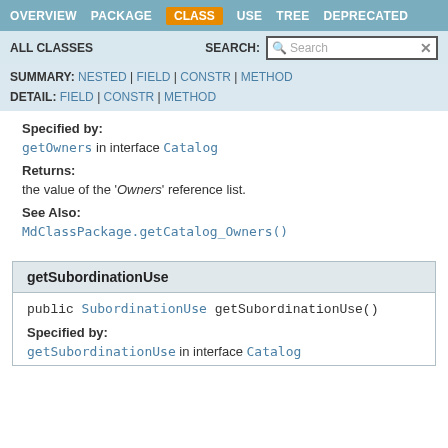OVERVIEW | PACKAGE | CLASS | USE | TREE | DEPRECATED
ALL CLASSES   SEARCH:
SUMMARY: NESTED | FIELD | CONSTR | METHOD
DETAIL: FIELD | CONSTR | METHOD
Specified by:
getOwners in interface Catalog
Returns:
the value of the 'Owners' reference list.
See Also:
MdClassPackage.getCatalog_Owners()
getSubordinationUse
public SubordinationUse getSubordinationUse()
Specified by:
getSubordinationUse in interface Catalog